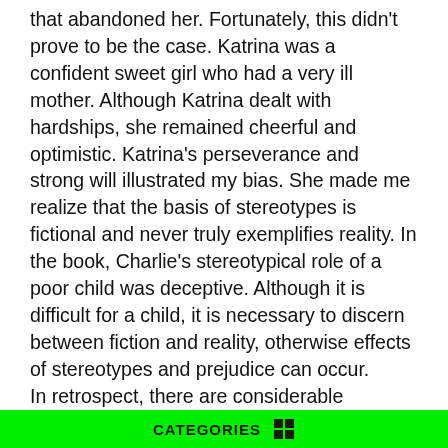that abandoned her. Fortunately, this didn't prove to be the case. Katrina was a confident sweet girl who had a very ill mother. Although Katrina dealt with hardships, she remained cheerful and optimistic. Katrina's perseverance and strong will illustrated my bias. She made me realize that the basis of stereotypes is fictional and never truly exemplifies reality. In the book, Charlie's stereotypical role of a poor child was deceptive. Although it is difficult for a child, it is necessary to discern between fiction and reality, otherwise effects of stereotypes and prejudice can occur.
In retrospect, there are considerable advantages in rereading a childhood book. Charlie & The Chocolate Factory was entertaining and enjoyable to reread because it gave me a new understanding of understanding. The character of Charlie impacted my perceptions of others by illustrating the importance of consideration, acceptance and having an open mind. I've found that a child's grasp on authors' perspectives can deeply influence their views of others. As a child, reading about these wacky characters was purely amusing. It never
CATEGORIES